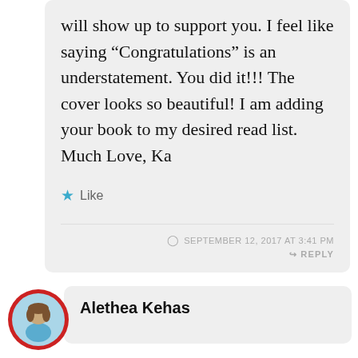will show up to support you. I feel like saying “Congratulations” is an understatement. You did it!!! The cover looks so beautiful! I am adding your book to my desired read list. Much Love, Ka
★ Like
SEPTEMBER 12, 2017 AT 3:41 PM
↪ REPLY
Alethea Kehas